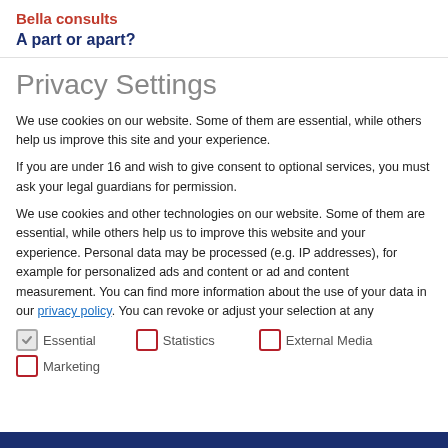Bella consults
A part or apart?
Privacy Settings
We use cookies on our website. Some of them are essential, while others help us improve this site and your experience.
If you are under 16 and wish to give consent to optional services, you must ask your legal guardians for permission.
We use cookies and other technologies on our website. Some of them are essential, while others help us to improve this website and your experience. Personal data may be processed (e.g. IP addresses), for example for personalized ads and content or ad and content measurement. You can find more information about the use of your data in our privacy policy. You can revoke or adjust your selection at any
Essential
Statistics
External Media
Marketing